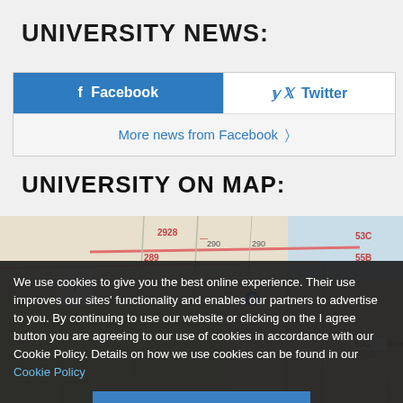UNIVERSITY NEWS:
[Figure (screenshot): Social media buttons: Facebook (blue button on left) and Twitter (white area on right), with 'More news from Facebook >' link below]
UNIVERSITY ON MAP:
[Figure (map): Street map showing university location with zoom in (+) button, road numbers like 290, 289, 2928, 53C, 55B, 59C, 101, and area labels including Illinois]
We use cookies to give you the best online experience. Their use improves our sites' functionality and enables our partners to advertise to you. By continuing to use our website or clicking on the I agree button you are agreeing to our use of cookies in accordance with our Cookie Policy. Details on how we use cookies can be found in our Cookie Policy